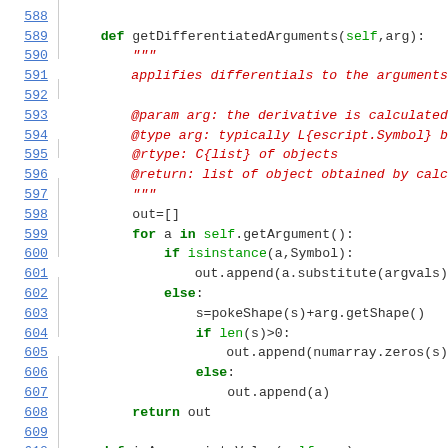[Figure (screenshot): Python source code viewer showing lines 588-610 of a code file with syntax highlighting. Line numbers are shown in blue underlined on the left. Code includes a method getDifferentiatedArguments with a docstring and logic for iterating over arguments, and the beginning of isAppropriateValue method.]